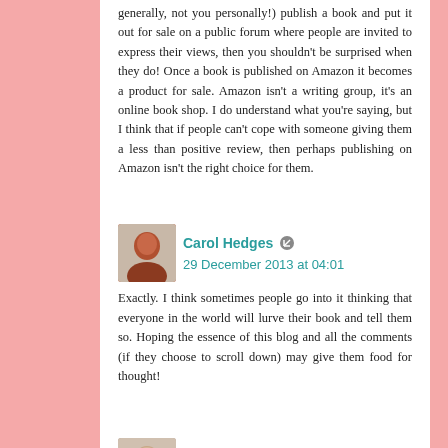generally, not you personally!) publish a book and put it out for sale on a public forum where people are invited to express their views, then you shouldn't be surprised when they do! Once a book is published on Amazon it becomes a product for sale. Amazon isn't a writing group, it's an online book shop. I do understand what you're saying, but I think that if people can't cope with someone giving them a less than positive review, then perhaps publishing on Amazon isn't the right choice for them.
Carol Hedges  29 December 2013 at 04:01
Exactly. I think sometimes people go into it thinking that everyone in the world will lurve their book and tell them so. Hoping the essence of this blog and all the comments (if they choose to scroll down) may give them food for thought!
Terry Tyler  29 December 2013 at 04:47